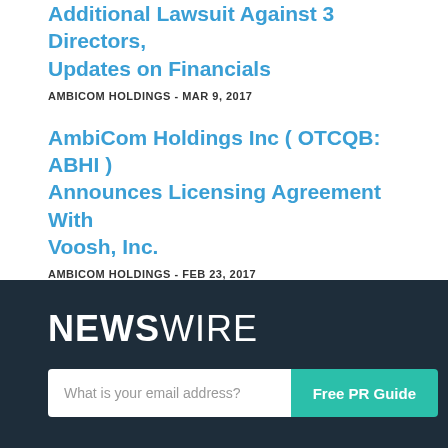Additional Lawsuit Against 3 Directors, Updates on Financials
AMBICOM HOLDINGS - MAR 9, 2017
AmbiCom Holdings Inc ( OTCQB: ABHI ) Announces Licensing Agreement With Voosh, Inc.
AMBICOM HOLDINGS - FEB 23, 2017
[Figure (logo): Newswire logo in white on dark background, bold 'NEWS' followed by thin 'WIRE']
What is your email address? [input] Free PR Guide [button]